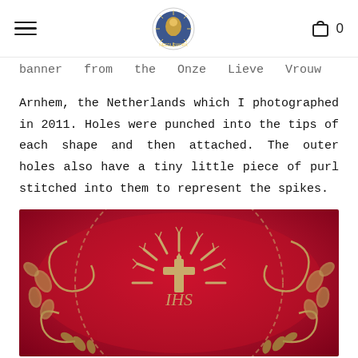Navigation bar with hamburger menu, logo, and cart (0 items)
banner from the Onze Lieve Vrouw Parceria in Arnhem, the Netherlands which I photographed in 2011. Holes were punched into the tips of each shape and then attached. The outer holes also have a tiny little piece of purl stitched into them to represent the spikes.
[Figure (photo): Close-up photograph of a red silk ecclesiastical vestment or banner with gold/silver metallic embroidery featuring the IHS monogram surrounded by radiating sunburst rays and ornate floral/leaf designs on a crimson background.]